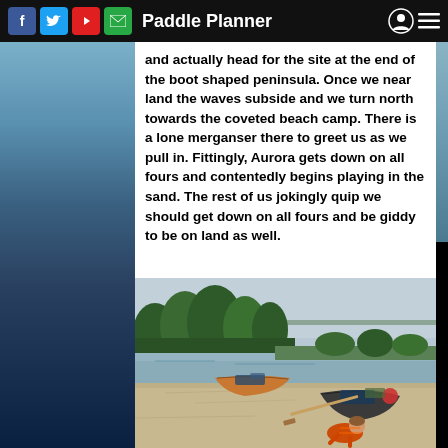Paddle Planner
and actually head for the site at the end of the boot shaped peninsula. Once we near land the waves subside and we turn north towards the coveted beach camp. There is a lone merganser there to greet us as we pull in. Fittingly, Aurora gets down on all fours and contentedly begins playing in the sand. The rest of us jokingly quip we should get down on all fours and be giddy to be on land as well.
[Figure (photo): Two canoes pulled up on a sandy beach with a child in an orange life jacket crawling on the sand. A calm lake and forested shoreline visible in the background under an overcast sky.]